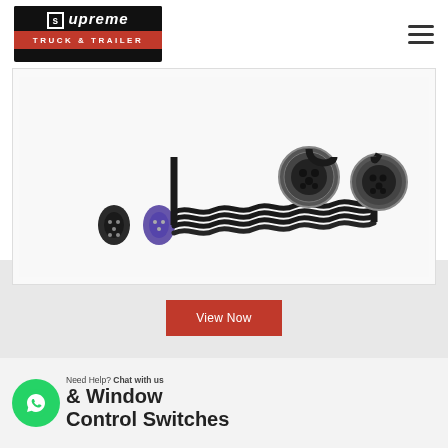[Figure (logo): Supreme Truck & Trailer logo — black top with stylized 'supreme' text, red bottom bar with 'TRUCK & TRAILER']
[Figure (photo): Product photo of truck/trailer electrical coiled cables and connectors — black coiled cable with multiple pin connectors on left side and metal round multi-pin connectors on right side]
View Now
[Figure (logo): WhatsApp green circular icon with phone/message symbol]
Need Help? Chat with us
& Window Control Switches